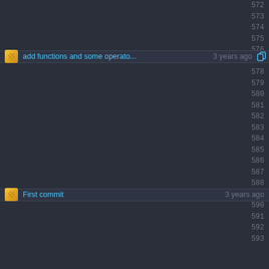572
573
574
add functions and some operato...3 years ago
575
576
577
578
579
580
581
582
583
584
585
586
587
First commit   3 years ago
588
589
590
591
592
593